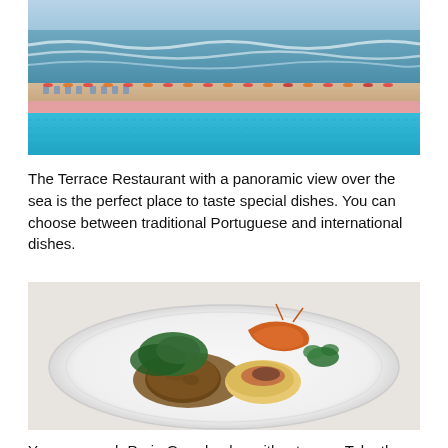[Figure (photo): Aerial view of a beach resort showing a large outdoor pool in the foreground with blue water, rows of beach chairs and colorful umbrellas on the beach, ocean waves in the background]
The Terrace Restaurant with a panoramic view over the sea is the perfect place to taste special dishes. You can choose between traditional Portuguese and international dishes.
[Figure (photo): A white plate with a Portuguese dish featuring a meat patty with brown sauce, sauteed greens (broccoli rabe), and a gratin topped potato dish with herbs and garnish, with a large prawn or lobster tail visible]
You can reach Praia Grande also without a car. Take the bus